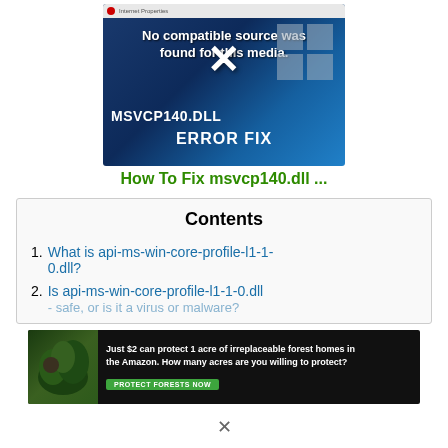[Figure (screenshot): Video player showing error message 'No compatible source was found for this media.' overlaid on a dark blue background with Windows logo and text 'MSVCP140.DLL ERROR FIX'. A large X is visible over the player.]
How To Fix msvcp140.dll ...
Contents
What is api-ms-win-core-profile-l1-1-0.dll?
Is api-ms-win-core-profile-l1-1-0.dll - safe, or is it a virus or malware?
[Figure (photo): Advertisement banner with forest/Amazon imagery and text: 'Just $2 can protect 1 acre of irreplaceable forest homes in the Amazon. How many acres are you willing to protect?' with a green 'PROTECT FORESTS NOW' button.]